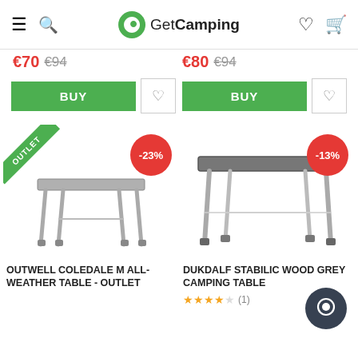GetCamping
€70 €94
€80 €94
BUY
BUY
[Figure (photo): Outwell Coledale M folding camping table with adjustable legs, grey top, silver metal frame. OUTLET badge on top-left corner, -23% red discount circle badge.]
[Figure (photo): Dukdalf Stabilic camping table with wood grey top and adjustable metal legs. -13% red discount circle badge.]
OUTWELL COLEDALE M ALL-WEATHER TABLE - OUTLET
DUKDALF STABILIC WOOD GREY CAMPING TABLE
★★★★☆ (1)